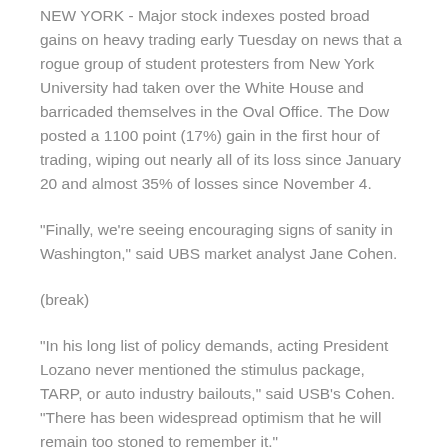NEW YORK - Major stock indexes posted broad gains on heavy trading early Tuesday on news that a rogue group of student protesters from New York University had taken over the White House and barricaded themselves in the Oval Office. The Dow posted a 1100 point (17%) gain in the first hour of trading, wiping out nearly all of its loss since January 20 and almost 35% of losses since November 4.
"Finally, we're seeing encouraging signs of sanity in Washington," said UBS market analyst Jane Cohen.
(break)
"In his long list of policy demands, acting President Lozano never mentioned the stimulus package, TARP, or auto industry bailouts," said USB's Cohen. "There has been widespread optimism that he will remain too stoned to remember it."